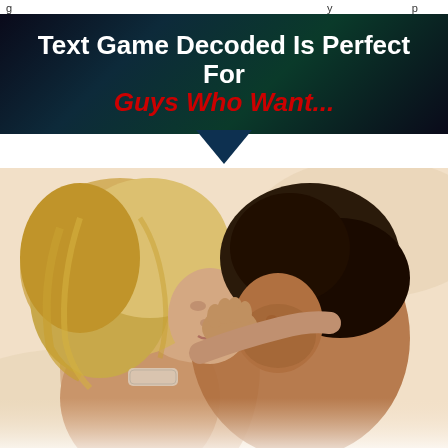g y p
[Figure (infographic): Dark banner with teal/green streaks background containing bold white and red text reading 'Text Game Decoded Is Perfect For Guys Who Want...' with a downward-pointing dark blue arrow below]
[Figure (photo): A blonde woman and a dark-haired man lying down close together, faces nearly touching, in an intimate romantic pose on white bedding]